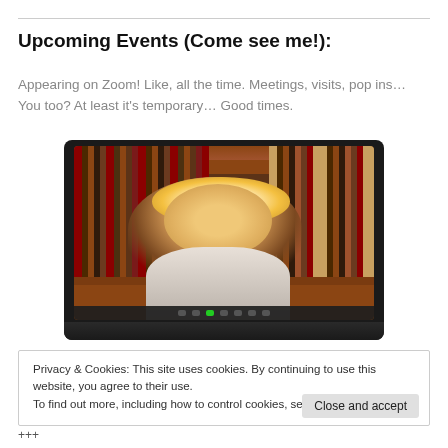Upcoming Events (Come see me!):
Appearing on Zoom! Like, all the time. Meetings, visits, pop ins… You too? At least it's temporary… Good times.
[Figure (photo): A person appearing on a Zoom video call on a laptop screen, with a bookshelf background visible behind them.]
Privacy & Cookies: This site uses cookies. By continuing to use this website, you agree to their use.
To find out more, including how to control cookies, see here: Cookie Policy
+++